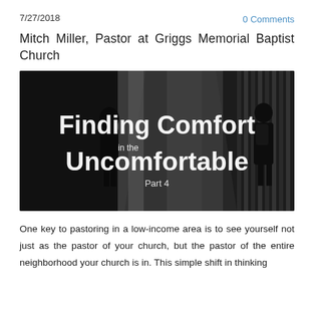7/27/2018
0 Comments
Mitch Miller, Pastor at Griggs Memorial Baptist Church
[Figure (photo): Dark atmospheric photo of people in a building corridor/hallway with text overlay reading 'Finding Comfort in the Uncomfortable Part 4']
One key to pastoring in a low-income area is to see yourself not just as the pastor of your church, but the pastor of the entire neighborhood your church is in. This simple shift in thinking